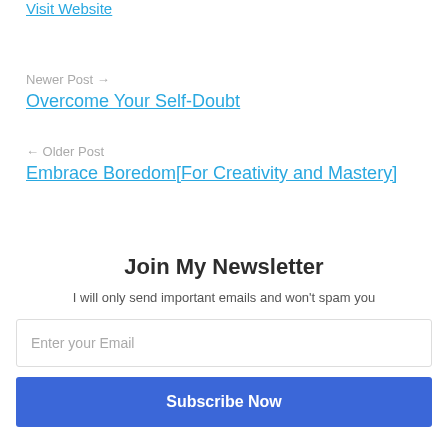Visit Website
Newer Post →
Overcome Your Self-Doubt
← Older Post
Embrace Boredom[For Creativity and Mastery]
Join My Newsletter
I will only send important emails and won't spam you
Enter your Email
Subscribe Now